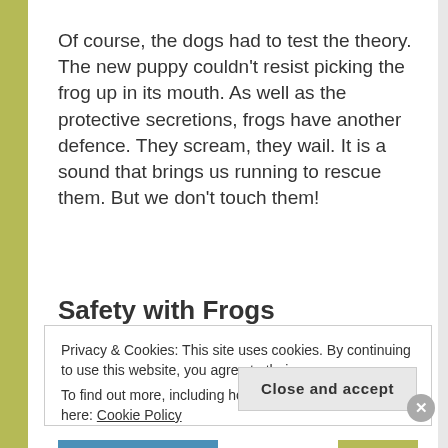Of course, the dogs had to test the theory. The new puppy couldn't resist picking the frog up in its mouth. As well as the protective secretions, frogs have another defence. They scream, they wail. It is a sound that brings us running to rescue them. But we don't touch them!
Safety with Frogs
Privacy & Cookies: This site uses cookies. By continuing to use this website, you agree to their use.
To find out more, including how to control cookies, see here: Cookie Policy
Close and accept